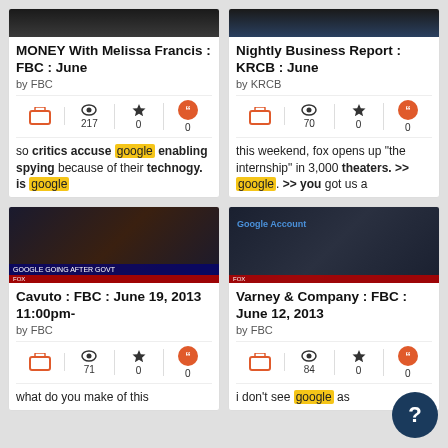[Figure (screenshot): TV show card: MONEY With Melissa Francis : FBC : June, by FBC, stats 217/0/0, snippet about critics accuse google enabling spying]
[Figure (screenshot): TV show card: Nightly Business Report : KRCB : June, by KRCB, stats 70/0/0, snippet about fox opens up the internship in 3,000 theaters, google]
[Figure (screenshot): TV show card: Cavuto : FBC : June 19, 2013 11:00pm-, by FBC, stats 71/0/0, snippet: what do you make of this]
[Figure (screenshot): TV show card: Varney & Company : FBC : June 12, 2013, by FBC, stats 84/0/0, snippet: i don't see google as]